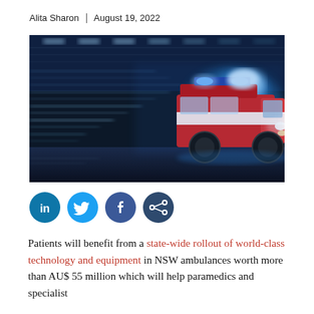Alita Sharon | August 19, 2022
[Figure (photo): Ambulance with blue lights flashing, speeding through a tunnel at night with motion blur effect]
[Figure (infographic): Social media share icons: LinkedIn, Twitter, Facebook, and generic share button]
Patients will benefit from a state-wide rollout of world-class technology and equipment in NSW ambulances worth more than AU$ 55 million which will help paramedics and specialist